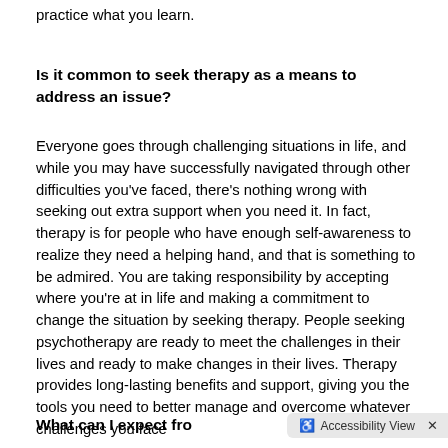practice what you learn.
Is it common to seek therapy as a means to address an issue?
Everyone goes through challenging situations in life, and while you may have successfully navigated through other difficulties you've faced, there's nothing wrong with seeking out extra support when you need it. In fact, therapy is for people who have enough self-awareness to realize they need a helping hand, and that is something to be admired. You are taking responsibility by accepting where you're at in life and making a commitment to change the situation by seeking therapy. People seeking psychotherapy are ready to meet the challenges in their lives and ready to make changes in their lives. Therapy provides long-lasting benefits and support, giving you the tools you need to better manage and overcome whatever challenges you face
What can I expect from